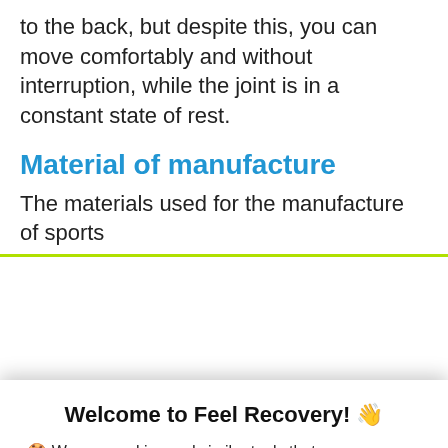to the back, but despite this, you can move comfortably and without interruption, while the joint is in a constant state of rest.
Material of manufacture
The materials used for the manufacture of sports
Welcome to Feel Recovery! 👋
🍪 We use cookies and similar tools that are necessary to enable you to make purchases, to enhance your shopping experience, and provide our services, as detailed in our Cookie Notice.
ACCEPT
Read More